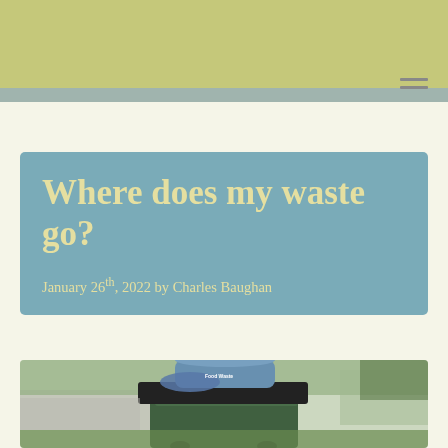Where does my waste go?
January 26th, 2022 by Charles Baughan
[Figure (photo): A food waste bin (blue caddy) sitting on top of a green wheelie bin, outdoors on grass with a road and fence visible in the background. The blue caddy is labelled 'Food Waste'.]